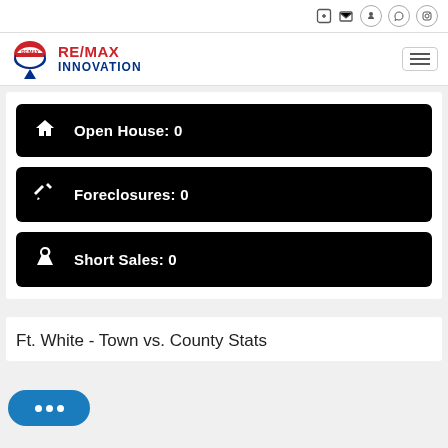RE/MAX INNOVATION
Open House: 0
Foreclosures: 0
Short Sales: 0
Ft. White - Town vs. County Stats